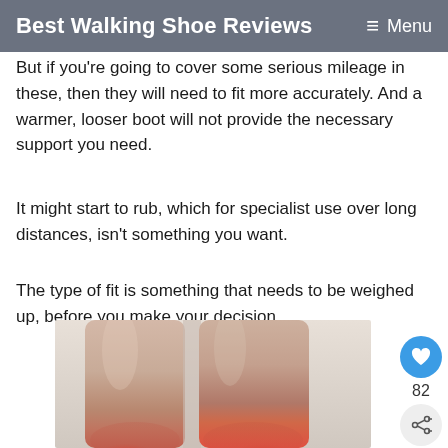Best Walking Shoe Reviews  Menu
But if you're going to cover some serious mileage in these, then they will need to fit more accurately. And a warmer, looser boot will not provide the necessary support you need.
It might start to rub, which for specialist use over long distances, isn't something you want.
The type of fit is something that needs to be weighed up, before you make your decision.
[Figure (photo): Close-up photo of two legs from the shins down, showing ankle/heel area with redness/inflammation highlighted in red/orange, suggesting foot pain or blisters from ill-fitting shoes.]